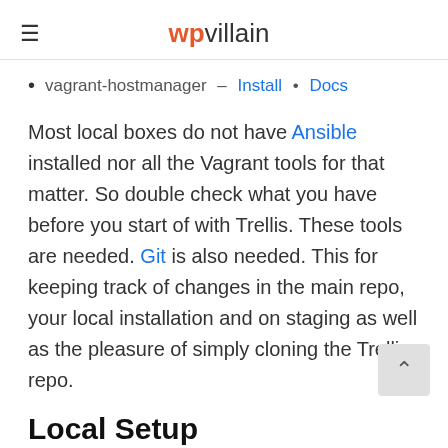wpvillain
vagrant-hostmanager – Install • Docs
Most local boxes do not have Ansible installed nor all the Vagrant tools for that matter. So double check what you have before you start of with Trellis. These tools are needed. Git is also needed. This for keeping track of changes in the main repo, your local installation and on staging as well as the pleasure of simply cloning the Trellis repo.
Local Setup
After you made sure you installed VirtualBox, Vagrant and needed plugins as well as Ansible